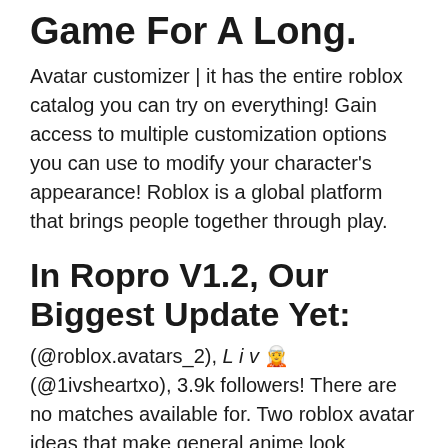Game For A Long.
Avatar customizer | it has the entire roblox catalog you can try on everything! Gain access to multiple customization options you can use to modify your character's appearance! Roblox is a global platform that brings people together through play.
In Ropro V1.2, Our Biggest Update Yet:
(@roblox.avatars_2), L i v 🧝(@1ivsheartxo), 3.9k followers! There are no matches available for. Two roblox avatar ideas that make general anime look aesthetic are;